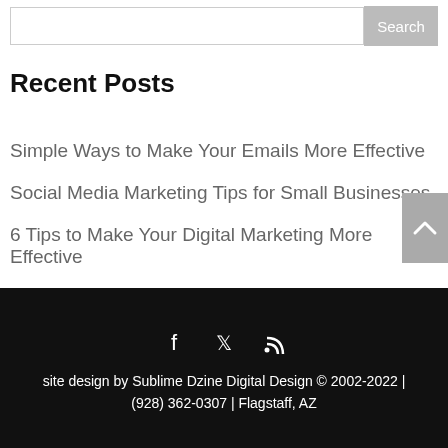Recent Posts
Simple Ways to Make Your Emails More Effective
Social Media Marketing Tips for Small Businesses
6 Tips to Make Your Digital Marketing More Effective
Facebook Ad Formats
How To Build Your Sales Pipeline
The 7 Keys to a Successful SEO Strategy
site design by Sublime Dzine Digital Design © 2002-2022 | (928) 362-0307 | Flagstaff, AZ